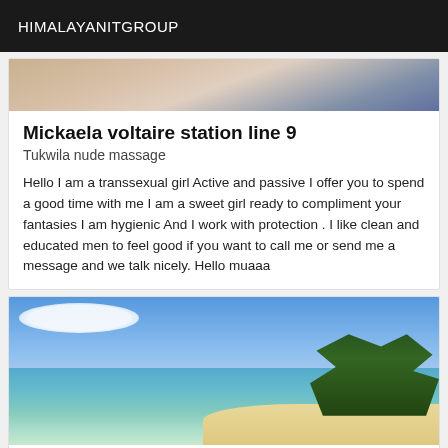HIMALAYANITGROUP
[Figure (photo): Partial photo of a person, cropped, showing torso area with light/beige tones]
Mickaela voltaire station line 9
Tukwila nude massage
Hello I am a transsexual girl Active and passive I offer you to spend a good time with me I am a sweet girl ready to compliment your fantasies I am hygienic And I work with protection . I like clean and educated men to feel good if you want to call me or send me a message and we talk nicely. Hello muaaa
[Figure (photo): Beach photo with clear turquoise water in foreground, blue sky with white clouds, sandy beach on right side with green trees]
research shameless girl